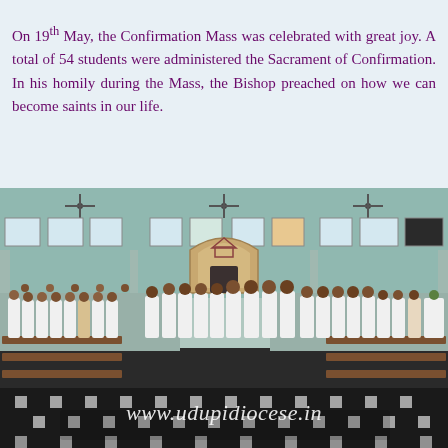On 19th May, the Confirmation Mass was celebrated with great joy. A total of 54 students were administered the Sacrament of Confirmation. In his homily during the Mass, the Bishop preached on how we can become saints in our life.
[Figure (photo): Interior of a church hall with students in white attire standing in rows between wooden pews during a Confirmation Mass. The church has light blue walls, arched windows, ceiling fans, and a decorated altar at the back. Watermark reads www.udupidiocese.in.]